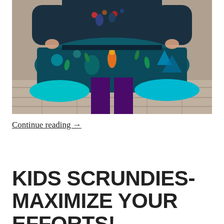[Figure (photo): A child wearing a dark teal/navy patterned peplum sweatshirt top with colorful fantasy print fabric on the flared bottom section, and purple leggings. The child is standing on paving stones outdoors. The photo is cropped to show the torso and legs only.]
Continue reading →
KIDS SCRUNDIES-MAXIMIZE YOUR EFFORTS!